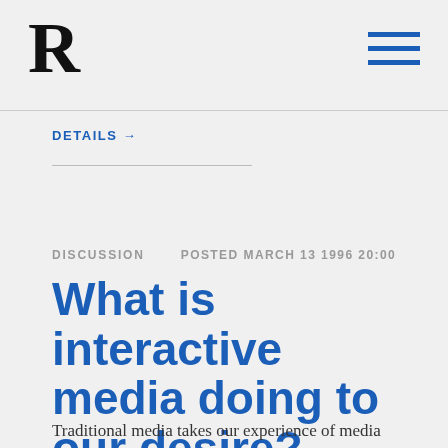R
DETAILS →
DISCUSSION   POSTED MARCH 13 1996 20:00
What is interactive media doing to our desire?
Traditional media takes our experience of media